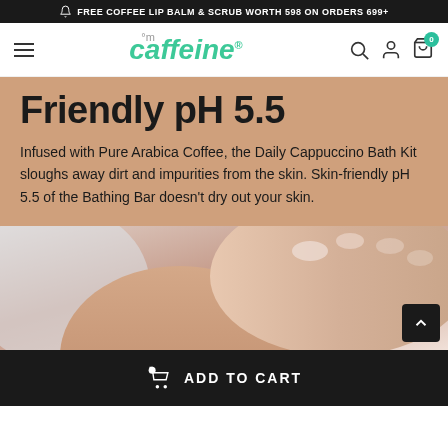FREE COFFEE LIP BALM & SCRUB WORTH 598 ON ORDERS 699+
[Figure (logo): mCaffeine logo in teal/green italic font with superscript circle-m and registered trademark symbol]
Friendly pH 5.5
Infused with Pure Arabica Coffee, the Daily Cappuccino Bath Kit sloughs away dirt and impurities from the skin. Skin-friendly pH 5.5 of the Bathing Bar doesn’t dry out your skin.
[Figure (photo): Close-up photo of a person applying product to their arm/skin against a light background]
ADD TO CART